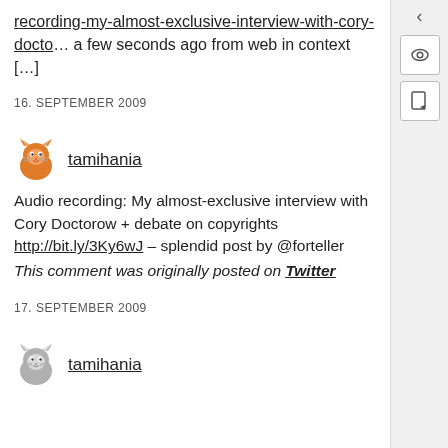recording-my-almost-exclusive-interview-with-cory-docto… a few seconds ago from web in context […]
16. SEPTEMBER 2009
[Figure (illustration): Orange cartoon cat avatar for user tamihania]
tamihania
Audio recording: My almost-exclusive interview with Cory Doctorow + debate on copyrights http://bit.ly/3Ky6wJ – splendid post by @forteller
This comment was originally posted on Twitter
17. SEPTEMBER 2009
[Figure (illustration): Grayscale cartoon cat avatar for user tamihania]
tamihania